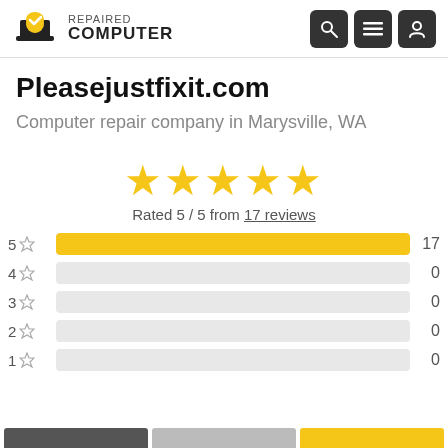[Figure (logo): Repaired Computer logo with map pin icon containing a checkmark and laptop silhouette, with text REPAIRED COMPUTER]
Pleasejustfixit.com
Computer repair company in Marysville, WA
[Figure (infographic): Five gold stars rating display with text: Rated 5 / 5 from 17 reviews. Rating breakdown bars: 5 star = 17, 4 star = 0, 3 star = 0, 2 star = 0, 1 star = 0]